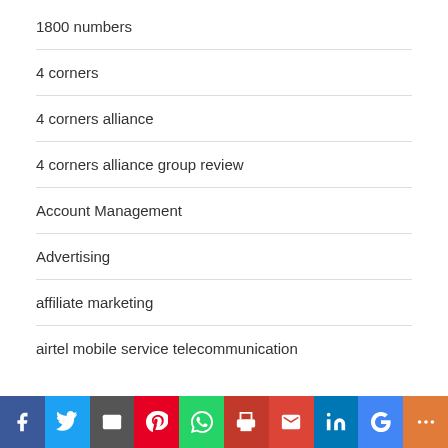1800 numbers
4 corners
4 corners alliance
4 corners alliance group review
Account Management
Advertising
affiliate marketing
airtel mobile service telecommunication